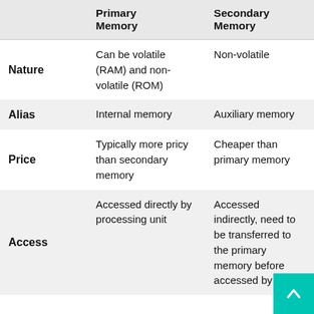|  | Primary Memory | Secondary Memory |
| --- | --- | --- |
| Nature | Can be volatile (RAM) and non-volatile (ROM) | Non-volatile |
| Alias | Internal memory | Auxiliary memory |
| Price | Typically more pricy than secondary memory | Cheaper than primary memory |
| Access | Accessed directly by processing unit | Accessed indirectly, need to be transferred to the primary memory before accessed by CPU |